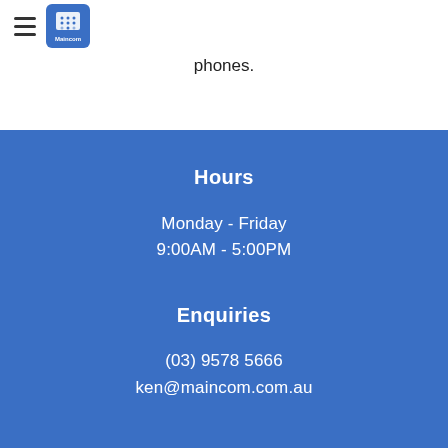[Figure (logo): Maincom logo — blue square with phone/keypad icon and 'Maincom' text]
phones.
Hours
Monday - Friday
9:00AM - 5:00PM
Enquiries
(03) 9578 5666
ken@maincom.com.au